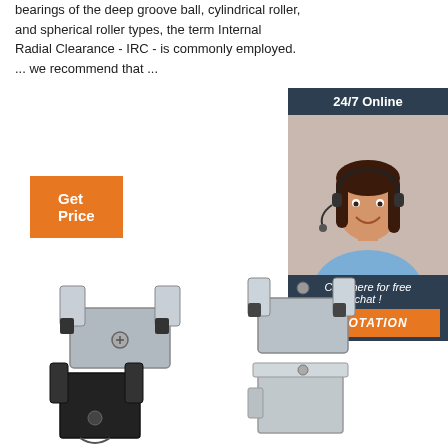bearings of the deep groove ball, cylindrical roller, and spherical roller types, the term Internal Radial Clearance - IRC - is commonly employed. ... we recommend that ...
[Figure (other): Orange 'Get Price' button]
[Figure (other): 24/7 Online chat panel with customer support agent photo, 'Click here for free chat!' text, and orange QUOTATION button]
[Figure (photo): Four mechanical bearing/clamp hardware components arranged in a 2x2 grid — two silver/metallic on top, two (one black, one silver) on bottom]